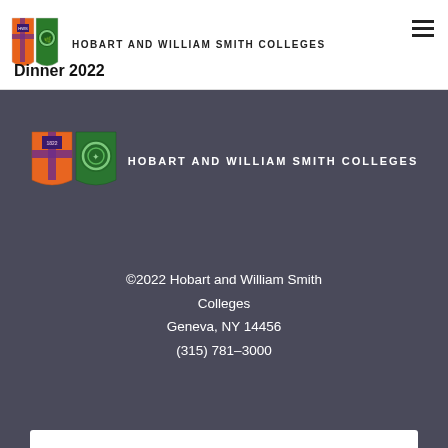HOBART AND WILLIAM SMITH COLLEGES
Dinner 2022
[Figure (logo): Hobart and William Smith Colleges logo with two shields (orange/purple and green) and wordmark in white on dark background]
©2022 Hobart and William Smith Colleges
Geneva, NY 14456
(315) 781–3000